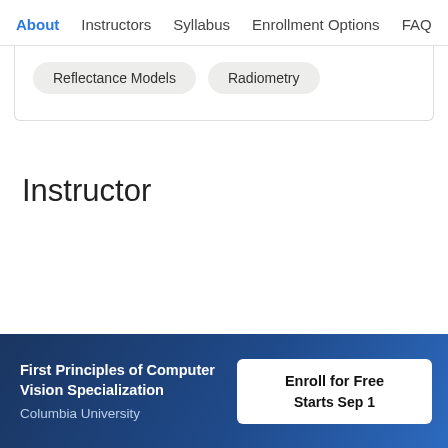About   Instructors   Syllabus   Enrollment Options   FAQ
Reflectance Models
Radiometry
Instructor
[Figure (illustration): Partial circular avatar/profile image with golden/orange gradient coloring]
First Principles of Computer Vision Specialization
Columbia University
Enroll for Free
Starts Sep 1